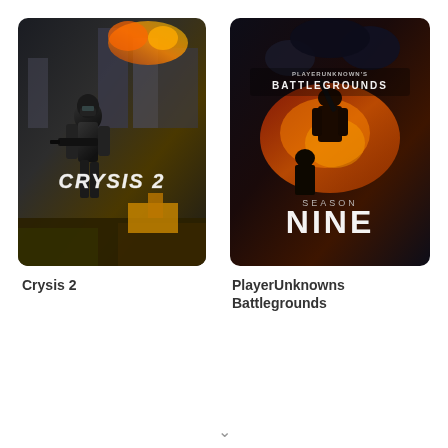[Figure (photo): Crysis 2 video game cover art showing an armored soldier in a destroyed New York City with the Crysis 2 logo]
Crysis 2
[Figure (photo): PlayerUnknowns Battlegrounds Season Nine game cover art with dark background and characters holding weapons]
PlayerUnknowns Battlegrounds